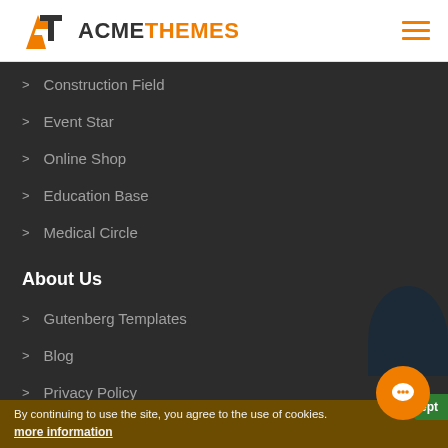ACMETHEMES
Construction Field
Event Star
Online Shop
Education Base
Medical Circle
About Us
Gutenberg Templates
Blog
Privacy Policy
Terms and Conditions
By continuing to use the site, you agree to the use of cookies. more information